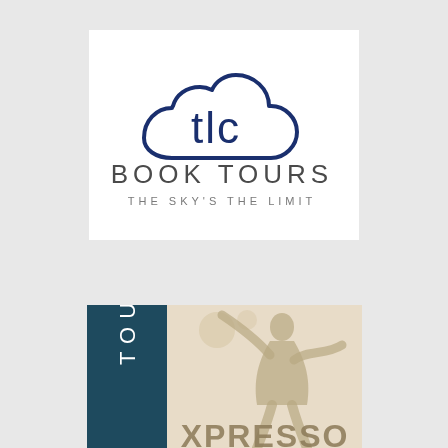[Figure (logo): TLC Book Tours logo — cloud shape with 'tlc' text inside, 'BOOK TOURS' in large dark gray letters below, 'THE SKY'S THE LIMIT' tagline beneath, on white background]
[Figure (logo): Tour Xpresso logo — dark teal vertical banner on left with 'TOUR' written vertically in white letters, beside a cream/beige background with silhouette of person and 'XPRESSO' text partially visible at bottom]